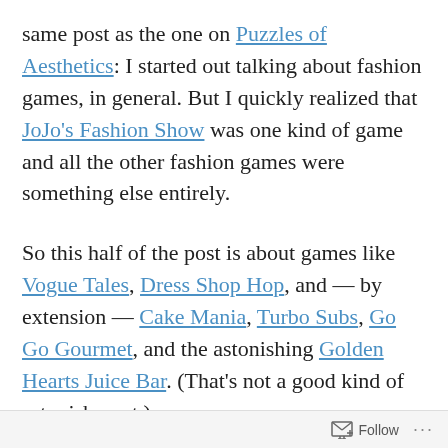same post as the one on Puzzles of Aesthetics: I started out talking about fashion games, in general. But I quickly realized that JoJo's Fashion Show was one kind of game and all the other fashion games were something else entirely.
So this half of the post is about games like Vogue Tales, Dress Shop Hop, and — by extension — Cake Mania, Turbo Subs, Go Go Gourmet, and the astonishing Golden Hearts Juice Bar. (That's not a good kind of astonishment.)
There's not a lot of IF stuff in here at all
Follow ···